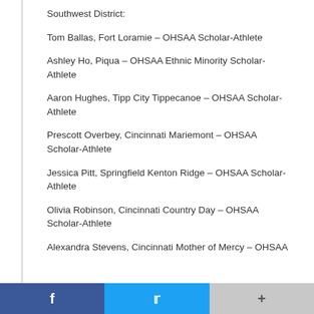Southwest District:
Tom Ballas, Fort Loramie – OHSAA Scholar-Athlete
Ashley Ho, Piqua – OHSAA Ethnic Minority Scholar-Athlete
Aaron Hughes, Tipp City Tippecanoe – OHSAA Scholar-Athlete
Prescott Overbey, Cincinnati Mariemont – OHSAA Scholar-Athlete
Jessica Pitt, Springfield Kenton Ridge – OHSAA Scholar-Athlete
Olivia Robinson, Cincinnati Country Day – OHSAA Scholar-Athlete
Alexandra Stevens, Cincinnati Mother of Mercy – OHSAA